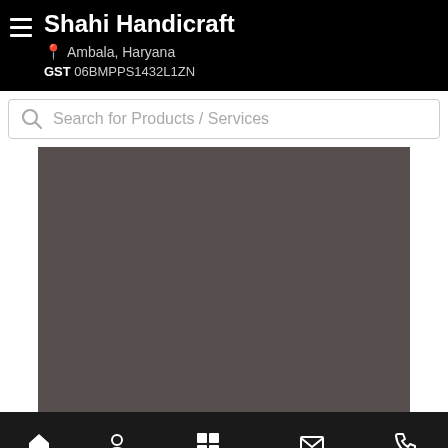Shahi Handicraft — Ambala, Haryana — GST 06BMPPS1432L1ZN
Search for Products / Services
[Figure (screenshot): Dark brownish-grey image placeholder area in the center of the page, flanked by white side panels]
Home | Profile | Our Range | Contact Us | Call Us